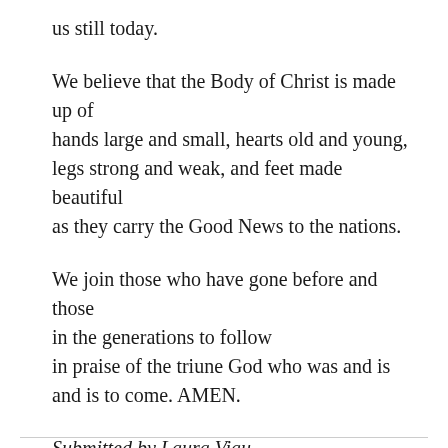us still today.
We believe that the Body of Christ is made up of hands large and small, hearts old and young, legs strong and weak, and feet made beautiful as they carry the Good News to the nations.
We join those who have gone before and those in the generations to follow in praise of the triune God who was and is and is to come. AMEN.
Submitted by Laura Viau.